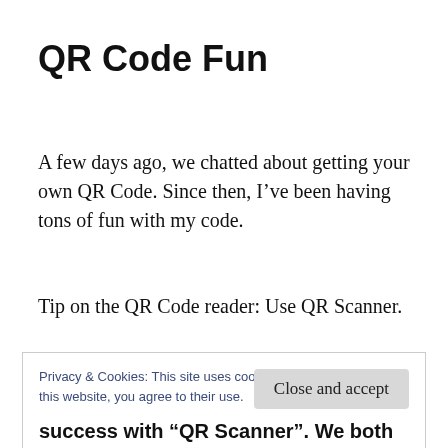QR Code Fun
A few days ago, we chatted about getting your own QR Code. Since then, I’ve been having tons of fun with my code.
Tip on the QR Code reader: Use QR Scanner.
Privacy & Cookies: This site uses cookies. By continuing to use this website, you agree to their use.
To find out more, including how to control cookies, see here:
Cookie Policy
Close and accept
success with “QR Scanner”. We both